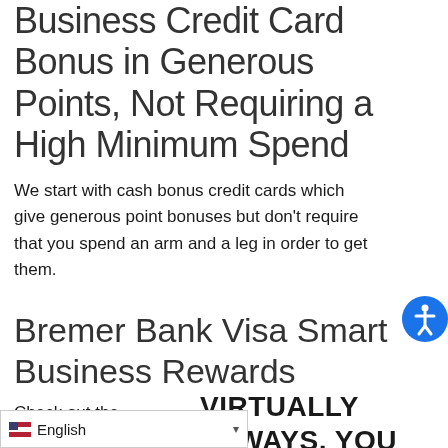Business Credit Card Bonus in Generous Points, Not Requiring a High Minimum Spend
We start with cash bonus credit cards which give generous point bonuses but don't require that you spend an arm and a leg in order to get them.
Bremer Bank Visa Smart Business Rewards
Check out the Bremer Bank
VIRTUALLY ALWAYS, YOU WILL HAVE TO SPEND A MINIMUM